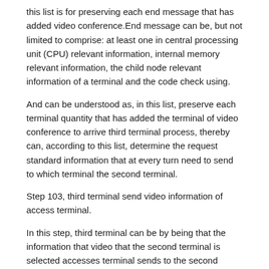this list is for preserving each end message that has added video conference.End message can be, but not limited to comprise: at least one in central processing unit (CPU) relevant information, internal memory relevant information, the child node relevant information of a terminal and the code check using.
And can be understood as, in this list, preserve each terminal quantity that has added the terminal of video conference to arrive third terminal process, thereby can, according to this list, determine the request standard information that at every turn need to send to which terminal the second terminal.
Step 103, third terminal send video information of access terminal.
In this step, third terminal can be by being that the information that video that the second terminal is selected accesses terminal sends to the second terminal, so that the second terminal accesses terminal and obtains video flowing from this video.
The information that sends to the video of the second